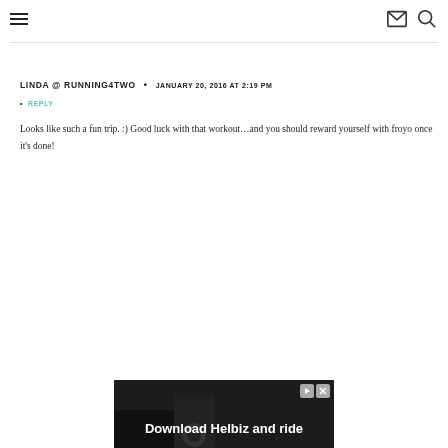≡  ✉ 🔍
LINDA @ RUNNING4TWO • JANUARY 20, 2016 AT 2:19 PM
• REPLY
Looks like such a fun trip. :) Good luck with that workout…and you should reward yourself with froyo once it's done!
[Figure (screenshot): Advertisement banner for Helbiz: 'Download Helbiz and ride' with scooter image in background, close and play buttons in top right]